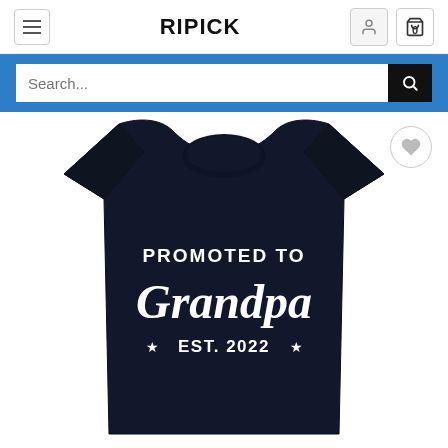RIPICK
[Figure (screenshot): Search bar with blue background and magnifying glass button]
[Figure (photo): Black t-shirt with white text reading PROMOTED TO Grandpa EST. 2022 with star decorations, on a white background. A heart/wishlist button is in the top right corner.]